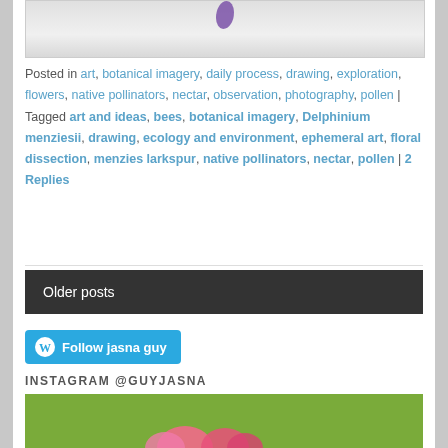[Figure (photo): Partial view of a botanical photo showing purple flower on light background, cropped at top]
Posted in art, botanical imagery, daily process, drawing, exploration, flowers, native pollinators, nectar, observation, photography, pollen | Tagged art and ideas, bees, botanical imagery, Delphinium menziesii, drawing, ecology and environment, ephemeral art, floral dissection, menzies larkspur, native pollinators, nectar, pollen | 2 Replies
Older posts
[Figure (logo): WordPress Follow button - Follow jasna guy]
INSTAGRAM @GUYJASNA
[Figure (photo): Instagram photo showing pink flowers on green background, partially visible]